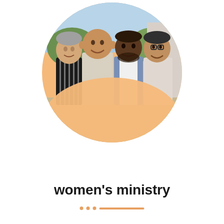[Figure (photo): Four men standing together smiling, framed in a circle with a peach/orange lower background. The photo shows an outdoor setting with greenery and a building in the background.]
women's ministry